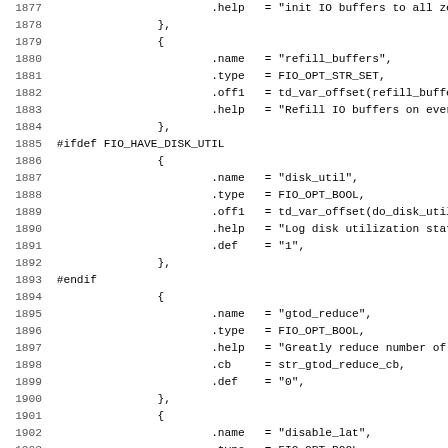Source code listing lines 1877-1908, showing C struct initialization for FIO options including refill_buffers, disk_util (inside #ifdef FIO_HAVE_DISK_UTIL / #endif), gtod_reduce, and disable_lat fields.